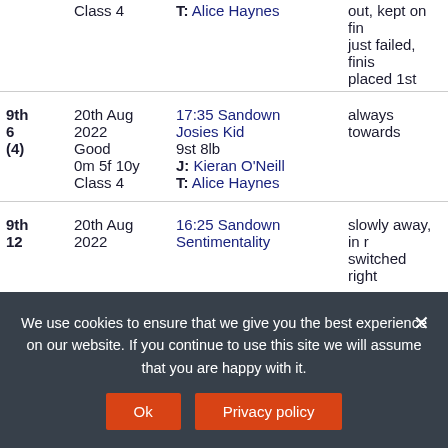| Position | Date | Race | Comment |
| --- | --- | --- | --- |
|  | Class 4 | T: Alice Haynes | out, kept on fir... just failed, finis... placed 1st |
| 9th
6
(4) | 20th Aug
2022
Good
0m 5f 10y
Class 4 | 17:35 Sandown
Josies Kid
9st 8lb
J: Kieran O'Neill
T: Alice Haynes | always towards... |
| 9th
12 | 20th Aug
2022 | 16:25 Sandown
Sentimentality | slowly away, in r...
switched right... |
We use cookies to ensure that we give you the best experience on our website. If you continue to use this site we will assume that you are happy with it.
Ok
Privacy policy